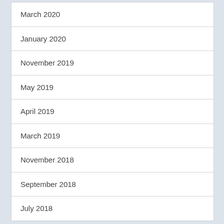March 2020
January 2020
November 2019
May 2019
April 2019
March 2019
November 2018
September 2018
July 2018